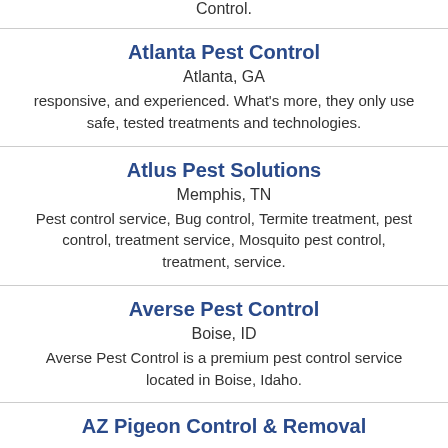Control.
Atlanta Pest Control
Atlanta, GA
responsive, and experienced. What's more, they only use safe, tested treatments and technologies.
Atlus Pest Solutions
Memphis, TN
Pest control service, Bug control, Termite treatment, pest control, treatment service, Mosquito pest control, treatment, service.
Averse Pest Control
Boise, ID
Averse Pest Control is a premium pest control service located in Boise, Idaho.
AZ Pigeon Control & Removal